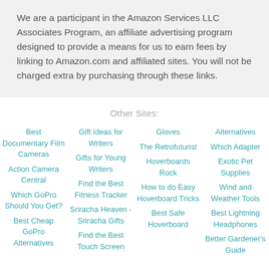We are a participant in the Amazon Services LLC Associates Program, an affiliate advertising program designed to provide a means for us to earn fees by linking to Amazon.com and affiliated sites. You will not be charged extra by purchasing through these links.
Other Sites:
Best Documentary Film Cameras
Action Camera Central
Which GoPro Should You Get?
Best Cheap GoPro Alternatives
Gift Ideas for Writers
Gifts for Young Writers
Find the Best Fitness Tracker
Sriracha Heaven - Sriracha Gifts
Find the Best Touch Screen
Gloves
The Retrofuturist
Hoverboards Rock
How to do Easy Hoverboard Tricks
Best Safe Hoverboard
Alternatives
Which Adapter
Exotic Pet Supplies
Wind and Weather Tools
Best Lightning Headphones
Better Gardener's Guide